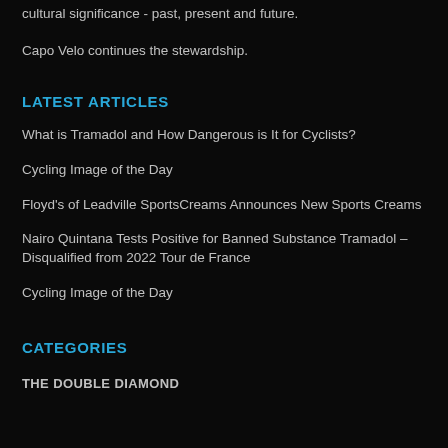cultural significance - past, present and future.
Capo Velo continues the stewardship.
LATEST ARTICLES
What is Tramadol and How Dangerous is It for Cyclists?
Cycling Image of the Day
Floyd's of Leadville SportsCreams Announces New Sports Creams
Nairo Quintana Tests Positive for Banned Substance Tramadol – Disqualified from 2022 Tour de France
Cycling Image of the Day
CATEGORIES
THE DOUBLE DIAMOND